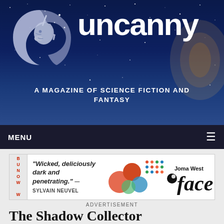[Figure (logo): Uncanny Magazine header banner with unicorn-moon logo on dark blue starry background with nebula, showing the magazine name 'uncanny' in large white bold text and subtitle 'A MAGAZINE OF SCIENCE FICTION AND FANTASY']
MENU ☰
[Figure (illustration): Advertisement banner: 'Wicked, deliciously dark and penetrating.' —SYLVAIN NEUVEL for Joma West Face book, with colorful abstract graphic]
ADVERTISEMENT
The Shadow Collector
BY SHVETA THAKRAR | IN CURRENT ISSUE